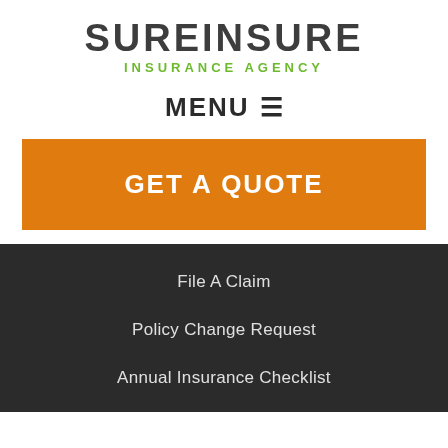[Figure (logo): SureInsure Insurance Agency logo with dark gray SUREINSURE text and green INSURANCE AGENCY subtitle]
MENU ☰
GET A QUOTE
File A Claim
Policy Change Request
Annual Insurance Checklist